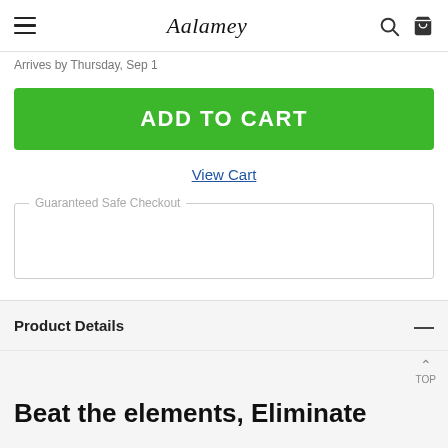Aalamey
Arrives by Thursday, Sep 1
ADD TO CART
View Cart
Guaranteed Safe Checkout
Product Details
Beat the elements, Eliminate